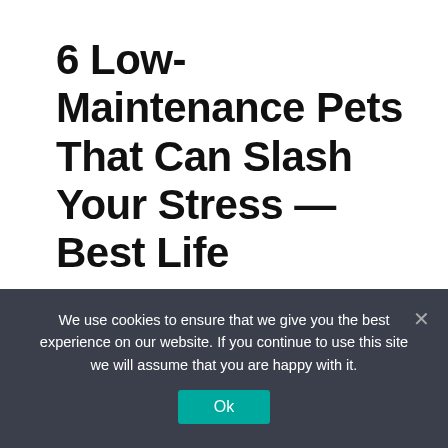6 Low-Maintenance Pets That Can Slash Your Stress — Best Life
May 22, 2022 by admin
Pro Armor 4 Point 3"
We use cookies to ensure that we give you the best experience on our website. If you continue to use this site we will assume that you are happy with it.